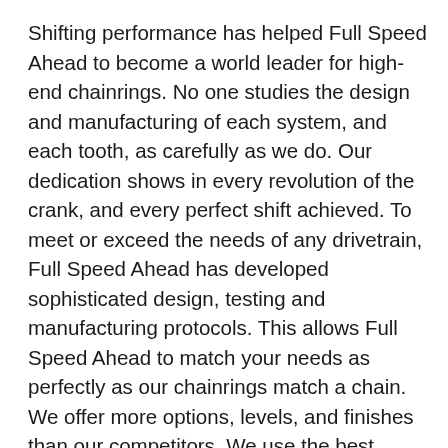Shifting performance has helped Full Speed Ahead to become a world leader for high-end chainrings. No one studies the design and manufacturing of each system, and each tooth, as carefully as we do. Our dedication shows in every revolution of the crank, and every perfect shift achieved. To meet or exceed the needs of any drivetrain, Full Speed Ahead has developed sophisticated design, testing and manufacturing protocols. This allows Full Speed Ahead to match your needs as perfectly as our chainrings match a chain. We offer more options, levels, and finishes than our competitors. We use the best materials available, imported from the USA, Europe, or sourced from our qualified vendors in Asia, to guarantee the durability, performance, and appearance will out-perform, and outlast the competition. Full Speed Ahead chainrings have powered multiple World, Tour de France, and Olympic champions, and will exceed your